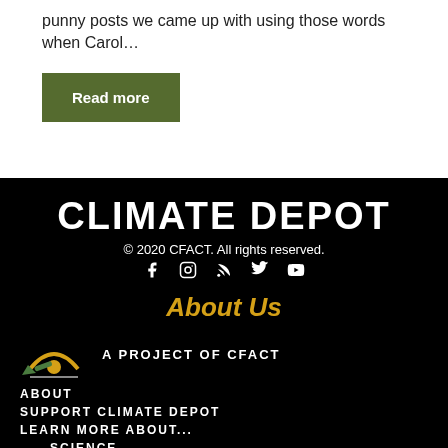punny posts we came up with using those words when Carol…
Read more
CLIMATE DEPOT
© 2020 CFACT. All rights reserved.
[Figure (other): Social media icons: Facebook, Instagram, RSS, Twitter, YouTube]
About Us
[Figure (logo): Climate Depot / CFACT logo: a stylized sunrise with green and gold colors]
A PROJECT OF CFACT
ABOUT
SUPPORT CLIMATE DEPOT
LEARN MORE ABOUT...
SCIENCE